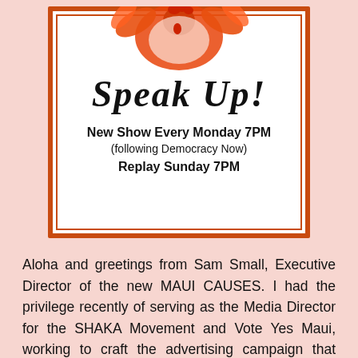[Figure (illustration): A poster with an orange border featuring a rooster illustration at the top, bold text 'Speak Up!' and show schedule details.]
Aloha and greetings from Sam Small, Executive Director of the new MAUI CAUSES. I had the privilege recently of serving as the Media Director for the SHAKA Movement and Vote Yes Maui, working to craft the advertising campaign that helped bring